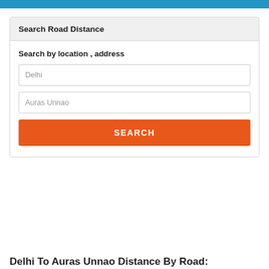Search Road Distance
Search by location , address
Delhi
Auras Unnao
SEARCH
Delhi To Auras Unnao Distance By Road: